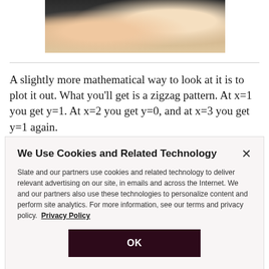[Figure (photo): Cropped photo showing two people, close-up of hands and blonde hair, one person wearing dark clothing with red nails]
A slightly more mathematical way to look at it is to plot it out. What you'll get is a zigzag pattern. At x=1 you get y=1. At x=2 you get y=0, and at x=3 you get y=1 again.
We Use Cookies and Related Technology

Slate and our partners use cookies and related technology to deliver relevant advertising on our site, in emails and across the Internet. We and our partners also use these technologies to personalize content and perform site analytics. For more information, see our terms and privacy policy.  Privacy Policy

OK